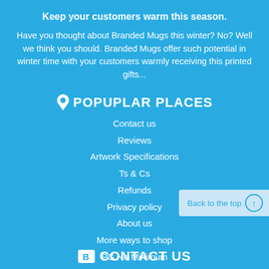Keep your customers warm this season.
Have you thought about Branded Mugs this winter? No? Well we think you should. Branded Mugs offer such potential in winter time with your customers warmly receiving this printed gifts...
POPUPLAR PLACES
Contact us
Reviews
Artwork Specifications
Ts & Cs
Refunds
Privacy policy
About us
More ways to shop
PG No Minimum
CONTACT US